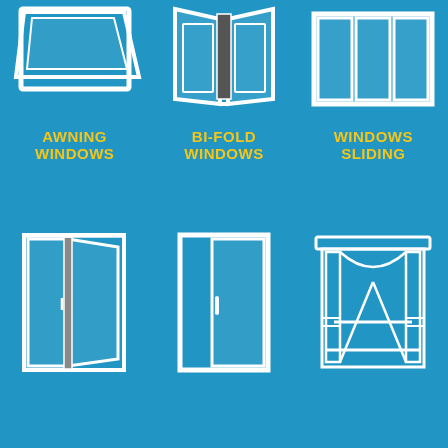[Figure (illustration): Awning window shown open at an angle from top hinge]
AWNING WINDOWS
[Figure (illustration): Bi-fold windows shown folded open]
BI-FOLD WINDOWS
[Figure (illustration): Sliding windows shown with three panels]
WINDOWS SLIDING
[Figure (illustration): Bi-fold door shown open with multiple panels folding]
[Figure (illustration): Sliding door shown as single panel with handle]
[Figure (illustration): Bay window icon shown as outline illustration]